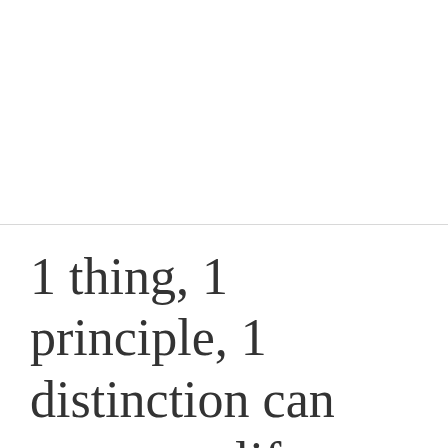1 thing, 1 principle, 1 distinction can turn your life around